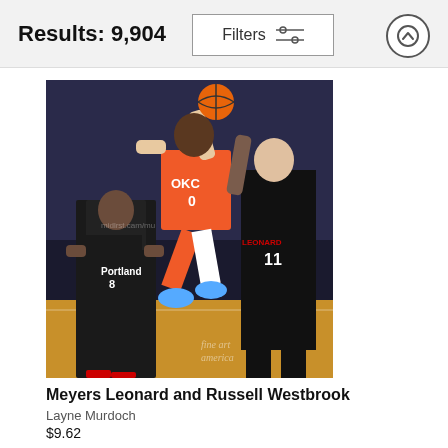Results: 9,904
[Figure (screenshot): Filters button with sliders icon in a bordered box]
[Figure (photo): NBA basketball game action photo showing Russell Westbrook (#0, OKC Thunder in orange) leaping for a layup against Meyers Leonard (#11, Portland Trail Blazers in black). Another Portland player wearing #8 is visible in the background. Fine Art America watermark visible at bottom right.]
Meyers Leonard and Russell Westbrook
Layne Murdoch
$9.62